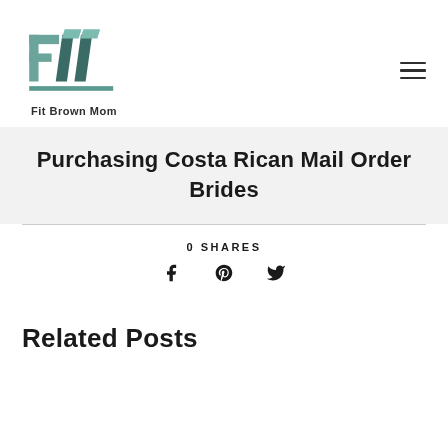[Figure (logo): Fit Brown Mom logo — stylized FM letters in teal/dark green with text 'Fit Brown Mom' below]
Purchasing Costa Rican Mail Order Brides
0 SHARES
[Figure (infographic): Social share icons: Facebook (f), Pinterest (p), Twitter (bird)]
Related Posts